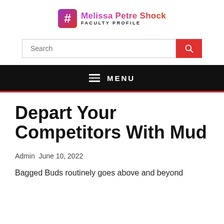Melissa Petre Shock FACULTY PROFILE
Search
MENU
Depart Your Competitors With Mud
Admin  June 10, 2022
Bagged Buds routinely goes above and beyond